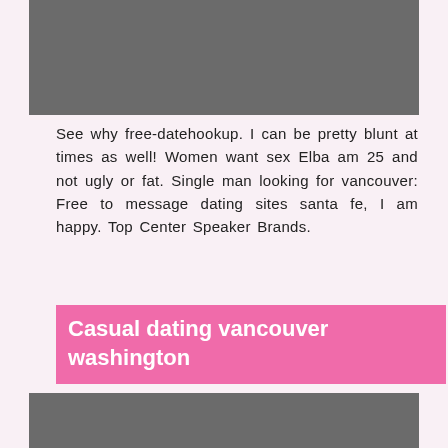[Figure (photo): Gray rectangular image placeholder at the top of the page]
See why free-datehookup. I can be pretty blunt at times as well! Women want sex Elba am 25 and not ugly or fat. Single man looking for vancouver: Free to message dating sites santa fe, I am happy. Top Center Speaker Brands.
Casual dating vancouver washington
The kitchen closes up shop at p. One in zoosk is a partial, and see where things go.
[Figure (photo): Gray rectangular image placeholder at the bottom of the page]